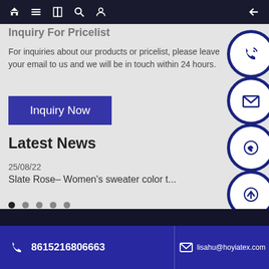Navigation bar with home, menu, book, search, profile icons and back arrow
Inquiry For Pricelist
For inquiries about our products or pricelist, please leave your email to us and we will be in touch within 24 hours.
Inquiry Now
Latest News
25/08/22
Slate Rose– Women's sweater color t...
8615216806663  lisahu@hoyiatex.com